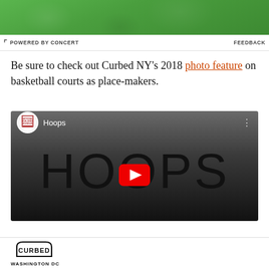[Figure (photo): Green textured advertisement banner at top of page]
⊟ POWERED BY CONCERT    FEEDBACK
Be sure to check out Curbed NY's 2018 photo feature on basketball courts as place-makers.
[Figure (screenshot): YouTube video thumbnail showing 'Hoops' video by National Building Museum. The thumbnail shows the word HOOPS in large thin letters on a dark gradient background, with a red YouTube play button overlay. Top bar shows National Building Museum logo and channel name 'Hoops'.]
[Figure (logo): Curbed Washington DC logo at bottom of page — stylized box border around the word CURBED, with WASHINGTON DC text below]